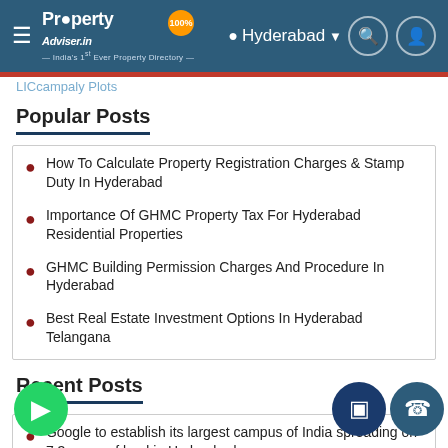PropertyAdviser.in — Hyderabad — India's 1st Ever Property Directory
Popular Posts
How To Calculate Property Registration Charges & Stamp Duty In Hyderabad
Importance Of GHMC Property Tax For Hyderabad Residential Properties
GHMC Building Permission Charges And Procedure In Hyderabad
Best Real Estate Investment Options In Hyderabad Telangana
Recent Posts
Google to establish its largest campus of India spreading on 7.3 acres of land in Hyderabad
GHMC To Charge For Constructions Along Slip Roads
CREDAI 11th Edition Hyderabad Property Show Be Held From April 29